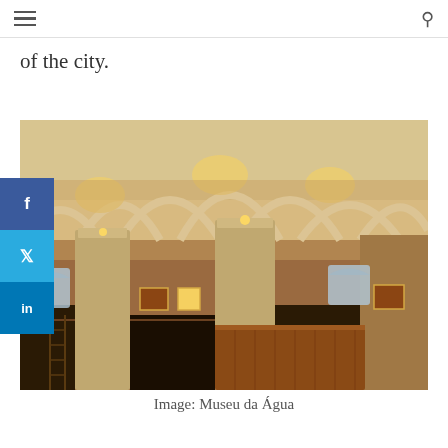≡  🔍
of the city.
[Figure (photo): Interior of Museu da Água (Water Museum) in Lisbon, showing stone vaulted ceilings with arched ribs illuminated by warm lighting, massive stone columns, and large water reservoir tanks below, built with brick walls and arched windows.]
Image: Museu da Água